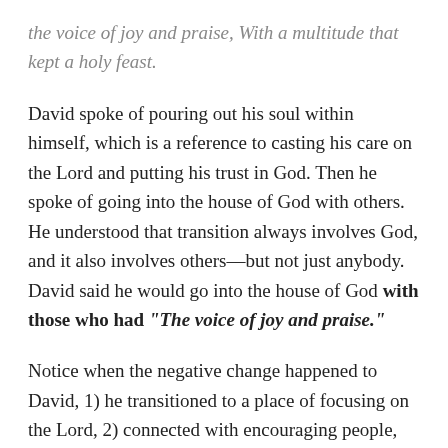the voice of joy and praise, With a multitude that kept a holy feast.
David spoke of pouring out his soul within himself, which is a reference to casting his care on the Lord and putting his trust in God. Then he spoke of going into the house of God with others. He understood that transition always involves God, and it also involves others––but not just anybody. David said he would go into the house of God with those who had "The voice of joy and praise."
Notice when the negative change happened to David, 1) he transitioned to a place of focusing on the Lord, 2) connected with encouraging people, and 3) found his